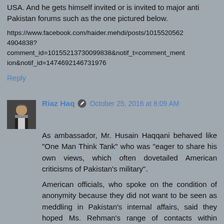USA. And he gets himself invited or is invited to major anti Pakistan forums such as the one pictured below.
https://www.facebook.com/haider.mehdi/posts/10155205624904838?comment_id=10155213730099838&notif_t=comment_mention&notif_id=1474692146731976
Reply
Riaz Haq  October 25, 2016 at 8:09 AM
As ambassador, Mr. Husain Haqqani behaved like "One Man Think Tank" who was "eager to share his own views, which often dovetailed American criticisms of Pakistan's military".
American officials, who spoke on the condition of anonymity because they did not want to be seen as meddling in Pakistan's internal affairs, said they hoped Ms. Rehman's range of contacts within Pakistan's military and its government and among rights groups could potentially make her a more effective interlocutor than her